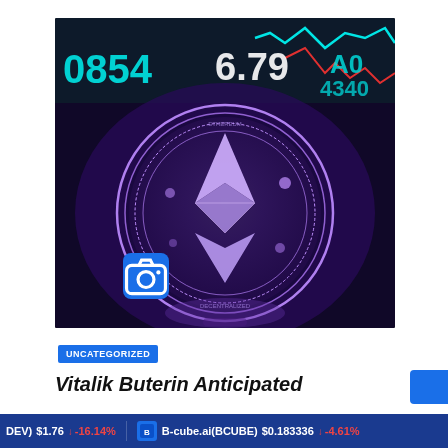[Figure (photo): Ethereum coin glowing in purple/violet light against a dark background, with stock market ticker numbers (0854, 6.79, etc.) visible in the background, and a camera icon overlay in the bottom left]
UNCATEGORIZED
Vitalik Buterin Anticipated
DEV) $1.76 ↓ -16.14%   B-cube.ai(BCUBE) $0.183336 ↓ -4.61%